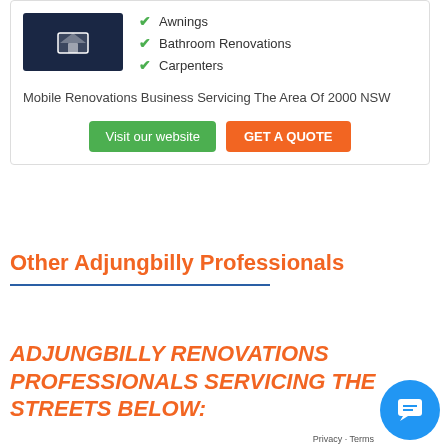[Figure (logo): Dark navy blue logo box with renovation company icon]
Awnings
Bathroom Renovations
Carpenters
Mobile Renovations Business Servicing The Area Of 2000 NSW
Other Adjungbilly Professionals
ADJUNGBILLY RENOVATIONS PROFESSIONALS SERVICING THE STREETS BELOW: